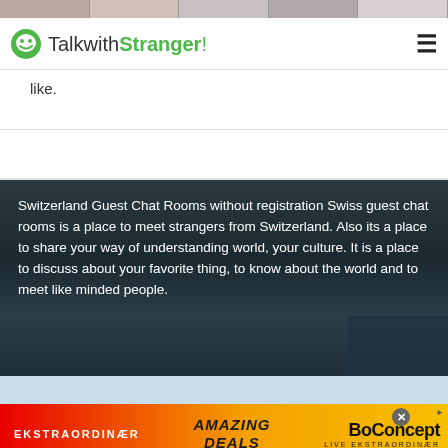[Figure (photo): Top strip of user avatar/profile photo thumbnails in a row]
TalkwithStranger!
like.
[Figure (photo): Dark mountain landscape background with overlaid white text about Switzerland Guest Chat Rooms]
Switzerland Guest Chat Rooms without registration Swiss guest chat rooms is a place to meet strangers from Switzerland. Also its a place to share your way of understanding world, your culture. It is a place to discuss about your favorite thing, to know about the world and to meet like minded people.
[Figure (photo): Advertisement banner: BoConcept EKSTRAORDINÆR Amazing Deals promotion with red-to-yellow gradient]
EKSTRAORDINÆR   AMAZING DEALS   BoConcept LIVE EKSTRAORDINÆR